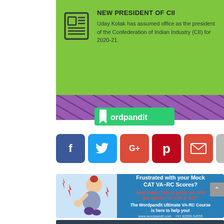[Figure (infographic): Green news card with newspaper icon, bold title 'NEW PRESIDENT OF CII' and body text about Uday Kotak. Below is a purple stripe with diagonal lines and a Wordpandit logo overlay.]
[Figure (infographic): Row of social share buttons: Facebook (f), Twitter (bird), Google+, Pinterest (p), Email (envelope), More (...)]
[Figure (infographic): Advertisement banner: left side shows illustration of frustrated person, right side on blue background says 'Frustrated with your Mock CAT VA-RC Scores?' with red subtitle and white body text about Wordpandit Ultimate VA-RC Course.]
[Figure (infographic): Dark banner partially visible at bottom of page.]